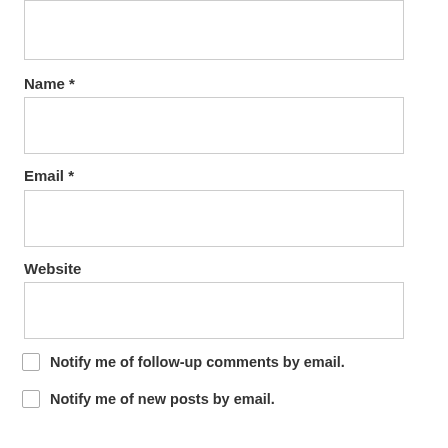[Figure (screenshot): Top portion of a comment form showing an empty textarea input field]
Name *
[Figure (screenshot): Empty text input box for Name field]
Email *
[Figure (screenshot): Empty text input box for Email field]
Website
[Figure (screenshot): Empty text input box for Website field]
Notify me of follow-up comments by email.
Notify me of new posts by email.